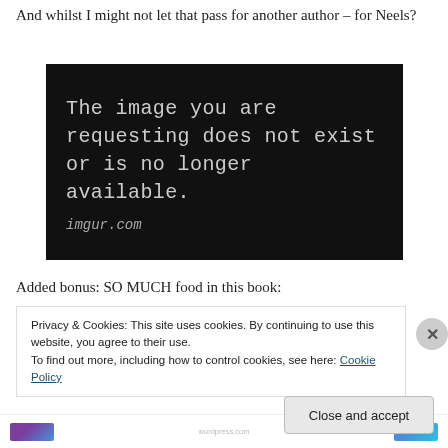And whilst I might not let that pass for another author – for Neels?
[Figure (screenshot): Black background placeholder image with white monospaced text reading 'The image you are requesting does not exist or is no longer available.' and 'imgur.com' in italic monospaced font below.]
Added bonus: SO MUCH food in this book:
Privacy & Cookies: This site uses cookies. By continuing to use this website, you agree to their use.
To find out more, including how to control cookies, see here: Cookie Policy
Close and accept
wordpress.com